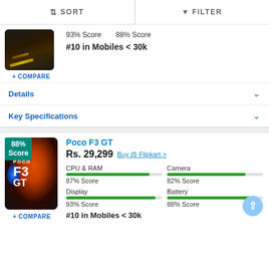SORT   FILTER
93% Score   88% Score
#10 in Mobiles < 30k
+ COMPARE
Details
Key Specifications
Poco F3 GT
Rs. 29,299  Buy @ Flipkart >
CPU & RAM
87% Score

Camera
82% Score

Display
93% Score

Battery
88% Score
#10 in Mobiles < 30k
+ COMPARE
[Figure (screenshot): Poco F3 GT smartphone product image with 88% Score badge]